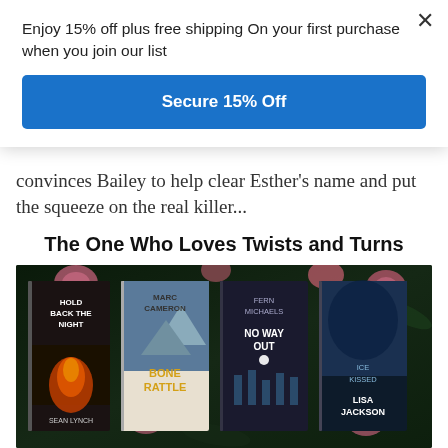Enjoy 15% off plus free shipping On your first purchase when you join our list
Secure 15% Off
convinces Bailey to help clear Esther's name and put the squeeze on the real killer...
The One Who Loves Twists and Turns
[Figure (photo): Four book covers arranged on a dark floral background with pink roses. Books shown: 'Hold Back the Night' by Sean Lynch, 'Bone Rattle' by Marc Cameron, 'No Way Out' by Fern Michaels, 'Ice Kissed' by Lisa Jackson.]